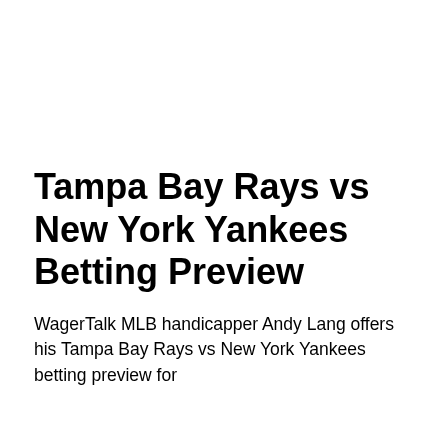Tampa Bay Rays vs New York Yankees Betting Preview
WagerTalk MLB handicapper Andy Lang offers his Tampa Bay Rays vs New York Yankees betting preview for